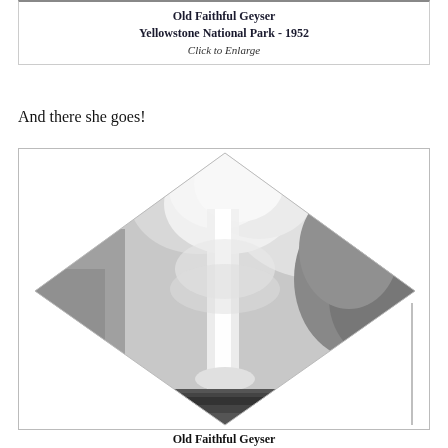Old Faithful Geyser
Yellowstone National Park - 1952
Click to Enlarge
And there she goes!
[Figure (photo): Black and white photograph of Old Faithful Geyser erupting at Yellowstone National Park, 1952. The photo is rotated 45 degrees (diamond orientation), showing the geyser column rising into a cloudy sky.]
Old Faithful Geyser